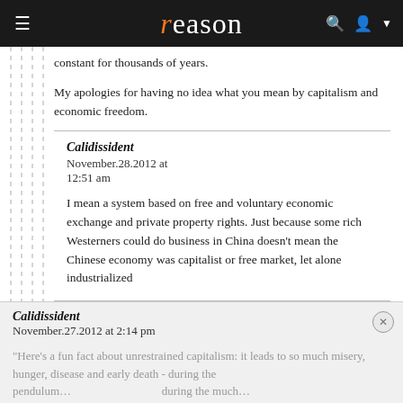reason
constant for thousands of years.
My apologies for having no idea what you mean by capitalism and economic freedom.
Calidissident
November.28.2012 at 12:51 am

I mean a system based on free and voluntary economic exchange and private property rights. Just because some rich Westerners could do business in China doesn't mean the Chinese economy was capitalist or free market, let alone industrialized
Calidissident
November.27.2012 at 2:14 pm
[Figure (screenshot): Bloomingdale's advertisement banner: 'bloomingdales / View Today's Top Deals!' with a model in a blue hat, and a 'SHOP NOW >' button.]
"Here's a fun fact about unrestrained capitalism: it leads to so much misery, hunger, disease and early death - during the pendulum...during much...